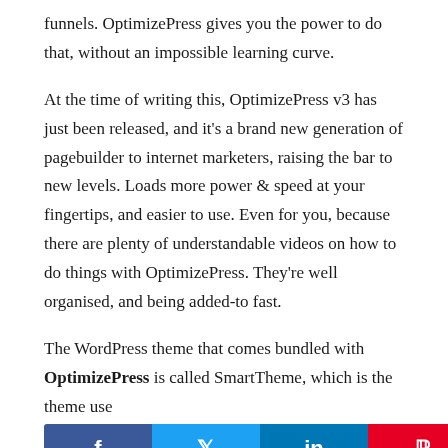funnels. OptimizePress gives you the power to do that, without an impossible learning curve.
At the time of writing this, OptimizePress v3 has just been released, and it's a brand new generation of pagebuilder to internet marketers, raising the bar to new levels. Loads more power & speed at your fingertips, and easier to use. Even for you, because there are plenty of understandable videos on how to do things with OptimizePress. They're well organised, and being added-to fast.
The WordPress theme that comes bundled with OptimizePress is called SmartTheme, which is the theme use[social bar]y general blog posts. It's a great blog theme which is easy to